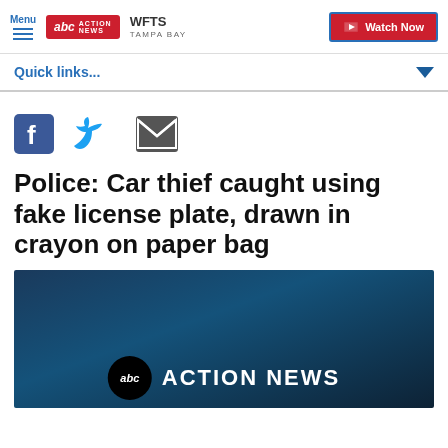Menu | ABC Action News WFTS Tampa Bay | Watch Now
Quick links...
[Figure (illustration): Social media share icons: Facebook (blue F icon), Twitter (blue bird icon), Email (dark envelope icon)]
Police: Car thief caught using fake license plate, drawn in crayon on paper bag
[Figure (screenshot): ABC Action News video thumbnail with dark blue background showing abc Action News logo text]